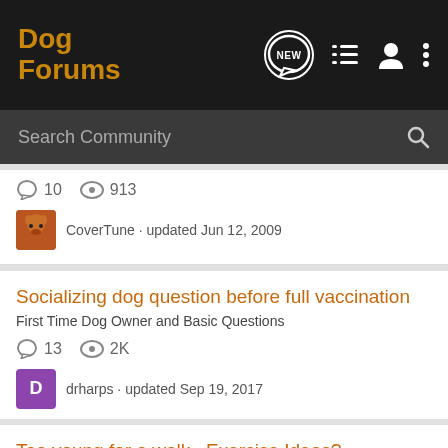Dog Forums
Search Community
10  913
CoverTune · updated Jun 12, 2009
Socializing dog question before full vaccination
First Time Dog Owner and Basic Questions
13  2K
drharps · updated Sep 19, 2017
Too young for a walk...Exercise Ideas?
First Time Dog Owner and Basic Questions
11  1K